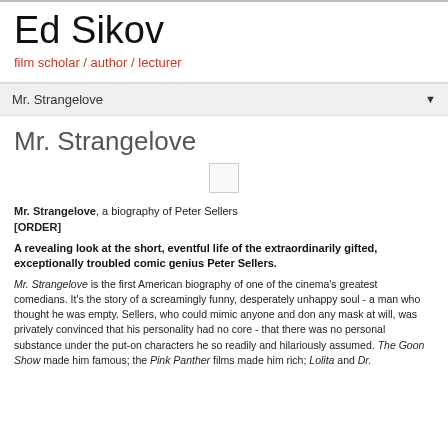Ed Sikov
film scholar / author / lecturer
Mr. Strangelove
Mr. Strangelove
[Figure (other): Small image placeholder (book cover thumbnail)]
Mr. Strangelove, a biography of Peter Sellers
[ORDER]
A revealing look at the short, eventful life of the extraordinarily gifted, exceptionally troubled comic genius Peter Sellers.
Mr. Strangelove is the first American biography of one of the cinema's greatest comedians. It's the story of a screamingly funny, desperately unhappy soul - a man who thought he was empty. Sellers, who could mimic anyone and don any mask at will, was privately convinced that his personality had no core - that there was no personal substance under the put-on characters he so readily and hilariously assumed. The Goon Show made him famous; the Pink Panther films made him rich; Lolita and Dr.